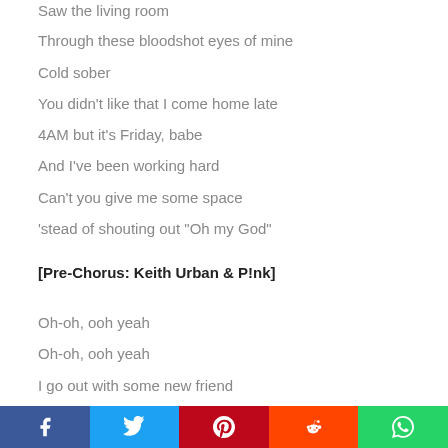Saw the living room
Through these bloodshot eyes of mine
Cold sober
You didn’t like that I come home late
4AM but it’s Friday, babe
And I’ve been working hard
Can’t you give me some space
’stead of shouting out “Oh my God”
[Pre-Chorus: Keith Urban & P!nk]
Oh-oh, ooh yeah
Oh-oh, ooh yeah
I go out with some new friend
But it just makes me miss you more
[Figure (infographic): Social sharing bar with Facebook (blue), Twitter (light blue), Pinterest (red), Reddit (orange), WhatsApp (green) buttons]